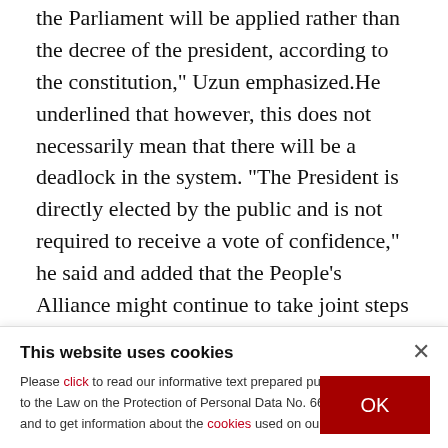the Parliament will be applied rather than the decree of the president, according to the constitution," Uzun emphasized.He underlined that however, this does not necessarily mean that there will be a deadlock in the system. "The President is directly elected by the public and is not required to receive a vote of confidence," he said and added that the People's Alliance might continue to take joint steps as well.

Uzun highlighted that "a natural result of the new
This website uses cookies
Please click to read our informative text prepared pursuant to the Law on the Protection of Personal Data No. 6698 and to get information about the cookies used on our